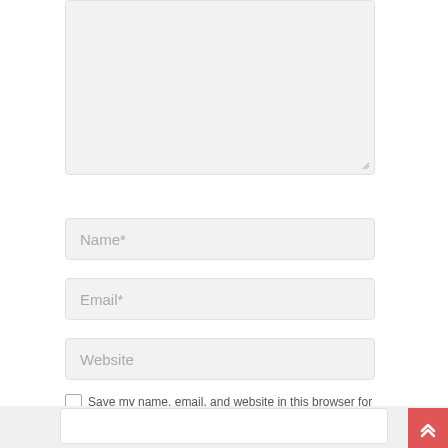[Figure (screenshot): Web comment form with textarea (top, partially shown), Name*, Email*, and Website input fields, a checkbox labeled 'Save my name, email, and website in this browser for the next time I comment.', a POST COMMENT button, a red scroll-to-top button at bottom right, and a footer bar with a search input at the bottom.]